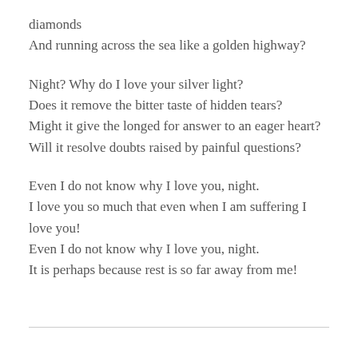diamonds
And running across the sea like a golden highway?
Night? Why do I love your silver light?
Does it remove the bitter taste of hidden tears?
Might it give the longed for answer to an eager heart?
Will it resolve doubts raised by painful questions?
Even I do not know why I love you, night.
I love you so much that even when I am suffering I love you!
Even I do not know why I love you, night.
It is perhaps because rest is so far away from me!